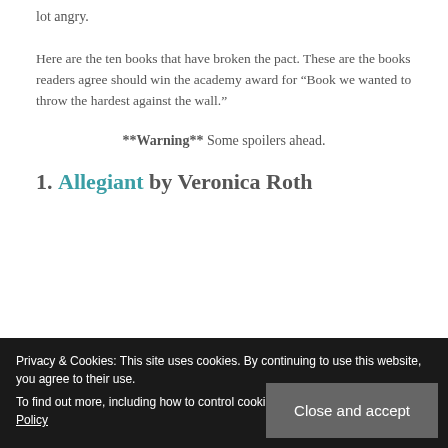lot angry.
Here are the ten books that have broken the pact. These are the books readers agree should win the academy award for “Book we wanted to throw the hardest against the wall.”
**Warning** Some spoilers ahead.
1. Allegiant by Veronica Roth
Privacy & Cookies: This site uses cookies. By continuing to use this website, you agree to their use.
To find out more, including how to control cookies, see here: Our Cookie Policy
Close and accept